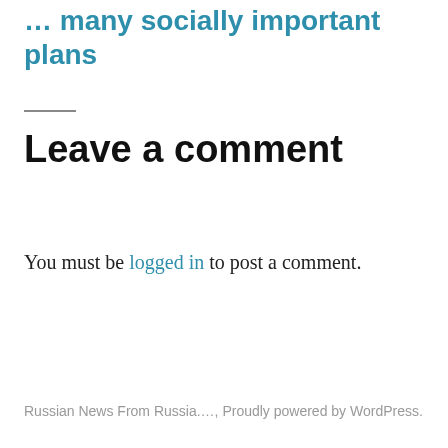… many socially important plans
Leave a comment
You must be logged in to post a comment.
Russian News From Russia.…, Proudly powered by WordPress.